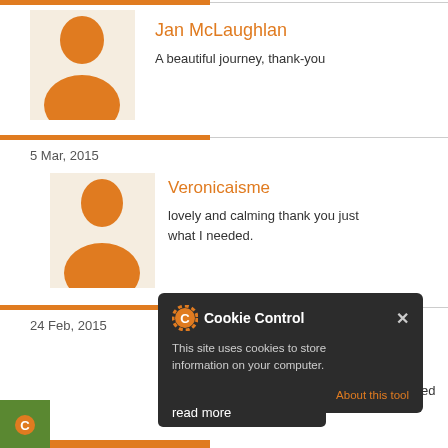[Figure (illustration): User avatar placeholder with orange silhouette on light background, first comment (Jan McLaughlan)]
Jan McLaughlan
A beautiful journey, thank-you
5 Mar, 2015
[Figure (illustration): User avatar placeholder with orange silhouette on light background, second comment (Veronicaisme)]
Veronicaisme
lovely and calming thank you just what I needed.
24 Feb, 2015
g66
thoroughly enjoyed this
ation.
[Figure (screenshot): Cookie Control popup dialog: 'This site uses cookies to store information on your computer.' with 'About this tool' link]
read more